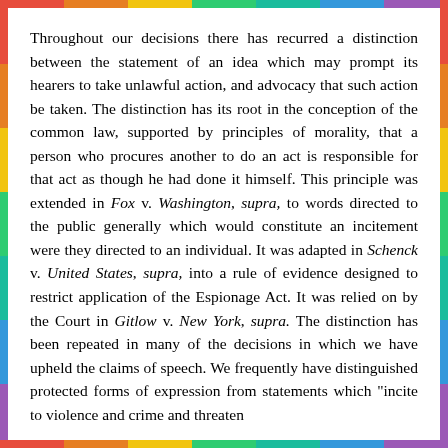Throughout our decisions there has recurred a distinction between the statement of an idea which may prompt its hearers to take unlawful action, and advocacy that such action be taken. The distinction has its root in the conception of the common law, supported by principles of morality, that a person who procures another to do an act is responsible for that act as though he had done it himself. This principle was extended in Fox v. Washington, supra, to words directed to the public generally which would constitute an incitement were they directed to an individual. It was adapted in Schenck v. United States, supra, into a rule of evidence designed to restrict application of the Espionage Act. It was relied on by the Court in Gitlow v. New York, supra. The distinction has been repeated in many of the decisions in which we have upheld the claims of speech. We frequently have distinguished protected forms of expression from statements which "incite to violence and crime and threaten